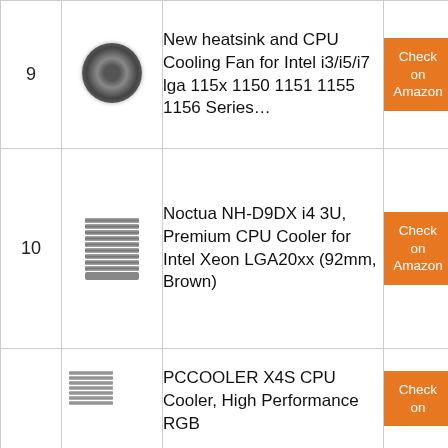| # | Image | Product Name | Link |
| --- | --- | --- | --- |
| 9 | [fan image] | New heatsink and CPU Cooling Fan for Intel i3/i5/i7 lga 115x 1150 1151 1155 1156 Series… | Check on Amazon |
| 10 | [heatsink image] | Noctua NH-D9DX i4 3U, Premium CPU Cooler for Intel Xeon LGA20xx (92mm, Brown) | Check on Amazon |
| 11 | [pccooler image] | PCCOOLER X4S CPU Cooler, High Performance RGB… | Check on Amazon |